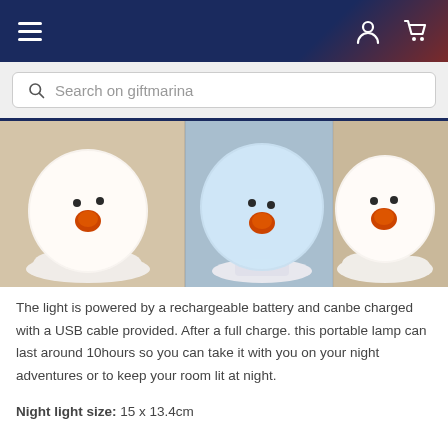Navigation bar with hamburger menu, user icon, and cart icon on giftmarina website
Search on giftmarina
[Figure (photo): Three snowman-shaped night lights shown side by side. Left: warm white glow with orange nose and dot eyes on a white cloud base. Center: blue/cool glow version of the same lamp. Right: warm white version with orange nose, on a white fluffy base.]
The light is powered by a rechargeable battery and canbe charged with a USB cable provided. After a full charge. this portable lamp can last around 10hours so you can take it with you on your night adventures or to keep your room lit at night.
Night light size: 15 x 13.4cm